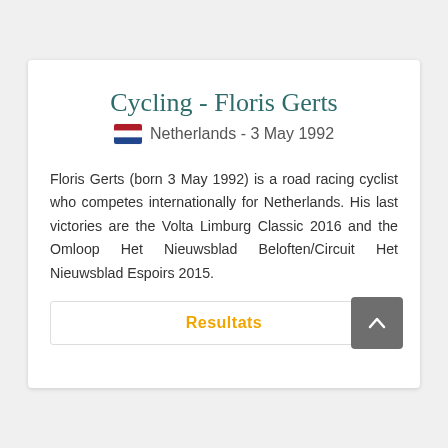Cycling - Floris Gerts
Netherlands - 3 May 1992
Floris Gerts (born 3 May 1992) is a road racing cyclist who competes internationally for Netherlands. His last victories are the Volta Limburg Classic 2016 and the Omloop Het Nieuwsblad Beloften/Circuit Het Nieuwsblad Espoirs 2015.
Resultats